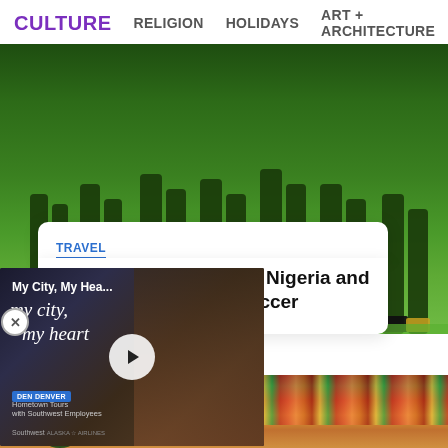CULTURE   RELIGION   HOLIDAYS   ART + ARCHITECTURE
[Figure (photo): Soccer players in green uniforms standing in a line on a field, viewed from waist down]
TRAVEL
FIFA Threatens To Ban Nigeria and France From World Soccer
[Figure (screenshot): Video player overlay showing 'My City, My Hea...' with cursive 'my city, my heart' text, a play button, Denver badge, and Southwest Airlines sponsorship]
[Figure (photo): Stadium scene with colorful crowd and a mascot figure in green costume in the foreground]